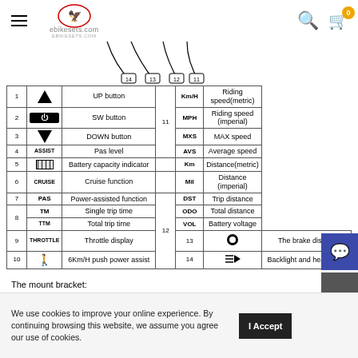ebikesets.com
[Figure (schematic): Diagram showing wiring/connectors with numbered labels 11, 12, 13, 14 at connector points]
| # | Icon/Label | Description | Ref | Code | Right Description |
| --- | --- | --- | --- | --- | --- |
| 1 | ▲ | UP button |  | Km/H | Riding speed(metric) |
| 2 | ⏻ | SW button | 11 | MPH | Riding speed (imperial) |
| 3 | ▼ | DOWN button |  | MXS | MAX speed |
| 4 | ASSIST | Pas level |  | AVS | Average speed |
| 5 | ▓▓▓ | Battery capacity indicator |  | Km | Distance(metric) |
| 6 | CRUISE | Cruise function |  | Mil | Distance (imperial) |
| 7 | PAS | Power-assisted function | 12 | DST | Trip distance |
| 8a | TM | Single trip time |  | ODO | Total distance |
| 8b | TTM | Total trip time |  | VOL | Battery voltage |
| 9 | THROTTLE | Throttle display | 13 | ⏺ | The brake display |
| 10 | 🚶 | 6Km/H push power assist | 14 | ≡▶ | Backlight and headlights |
The mount bracket:
Handlebar for Holding:Ø 22.2
We use cookies to improve your online experience. By continuing browsing this website, we assume you agree our use of cookies.